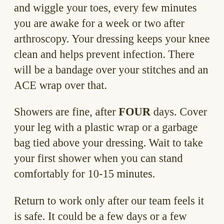and wiggle your toes, every few minutes you are awake for a week or two after arthroscopy. Your dressing keeps your knee clean and helps prevent infection. There will be a bandage over your stitches and an ACE wrap over that.
Showers are fine, after FOUR days. Cover your leg with a plastic wrap or a garbage bag tied above your dressing. Wait to take your first shower when you can stand comfortably for 10-15 minutes.
Return to work only after our team feels it is safe. It could be a few days or a few weeks, depending on how quickly you heal and how much demand your job puts on your knee. In general, you can count on returning to work sooner after arthroscopy than after open